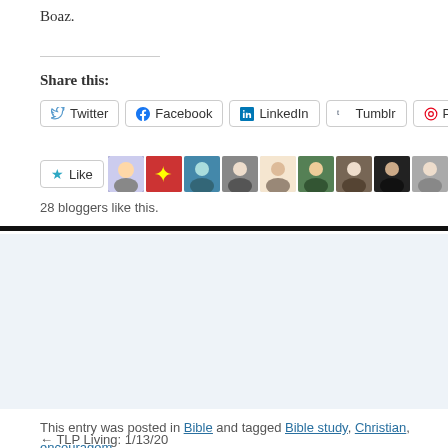Boaz.
Share this:
Twitter
Facebook
LinkedIn
Tumblr
Pinterest
28 bloggers like this.
About Don Merritt
A long time teacher and writer, Don hopes to share different way with a Christian perspective.
View all posts by Don Merritt →
This entry was posted in Bible and tagged Bible study, Christian, encouragement. Bookmark the permalink.
← TLP Living: 1/13/20